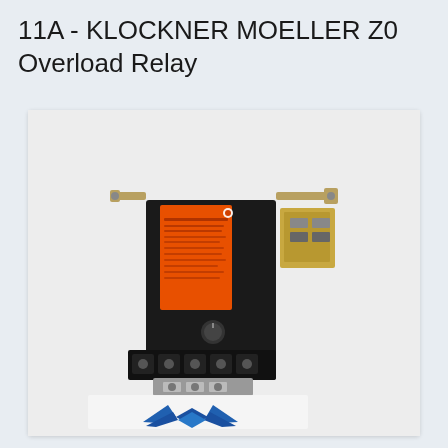11A - KLOCKNER MOELLER Z0 Overload Relay
[Figure (photo): Photo of a Klockner Moeller Z0 overload relay — a black industrial electrical component with an orange label on top showing product specifications, metal mounting brackets on the sides, screw terminals at the bottom, and a blue stylized bird/wing logo on a white card visible at the bottom of the image. The component is photographed against a light grey background.]